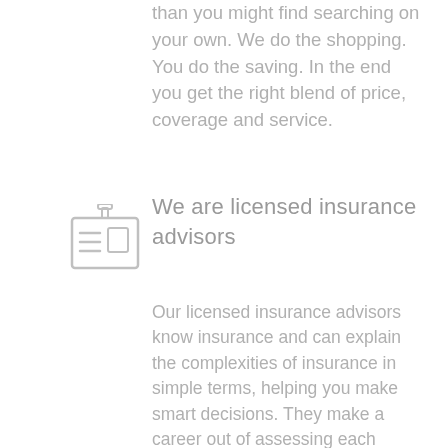than you might find searching on your own. We do the shopping. You do the saving. In the end you get the right blend of price, coverage and service.
[Figure (illustration): Icon of a name badge / ID card with a lanyard attachment and lines representing text on the card]
We are licensed insurance advisors
Our licensed insurance advisors know insurance and can explain the complexities of insurance in simple terms, helping you make smart decisions. They make a career out of assessing each client's unique insurance needs and